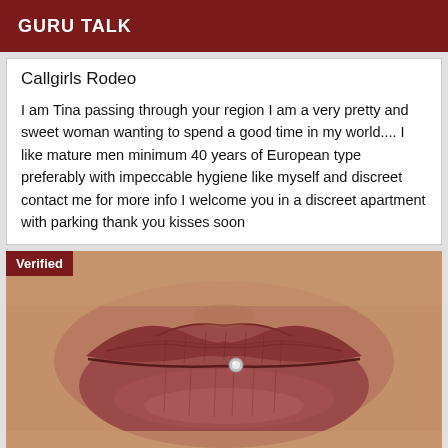GURU TALK
Callgirls Rodeo
I am Tina passing through your region I am a very pretty and sweet woman wanting to spend a good time in my world.... I like mature men minimum 40 years of European type preferably with impeccable hygiene like myself and discreet contact me for more info I welcome you in a discreet apartment with parking thank you kisses soon
[Figure (photo): Close-up photo of lips with a lip piercing, with a 'Verified' badge overlay in the top-left corner]